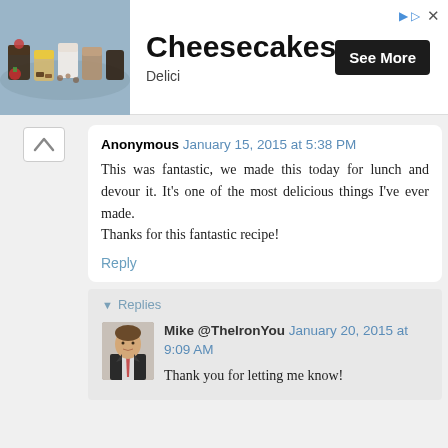[Figure (screenshot): Advertisement banner for Cheesecakes by Delici with a photo of desserts in glasses, a 'See More' button, and ad controls in the top-right corner.]
Anonymous January 15, 2015 at 5:38 PM

This was fantastic, we made this today for lunch and devour it. It's one of the most delicious things I've ever made.
Thanks for this fantastic recipe!

Reply
▾ Replies
[Figure (photo): Small avatar photo of Mike @TheIronYou — a man in a dark jacket.]
Mike @TheIronYou January 20, 2015 at 9:09 AM

Thank you for letting me know!